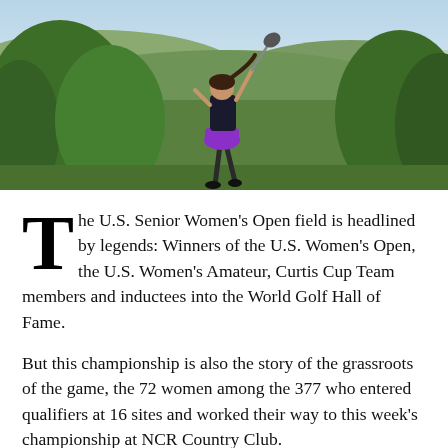[Figure (photo): A female golfer wearing a purple skirt and dark top mid-swing with a driver on an elevated tee, with green trees and a city skyline visible in the background under a blue sky.]
The U.S. Senior Women's Open field is headlined by legends: Winners of the U.S. Women's Open, the U.S. Women's Amateur, Curtis Cup Team members and inductees into the World Golf Hall of Fame.
But this championship is also the story of the grassroots of the game, the 72 women among the 377 who entered qualifiers at 16 sites and worked their way to this week's championship at NCR Country Club.